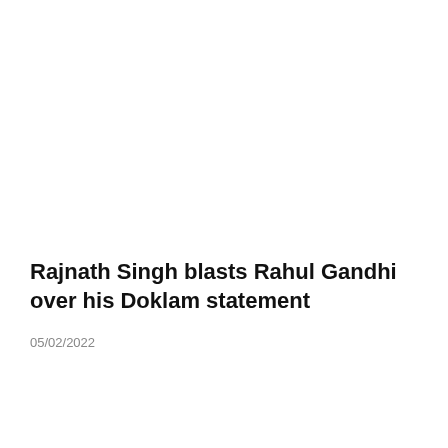Rajnath Singh blasts Rahul Gandhi over his Doklam statement
05/02/2022